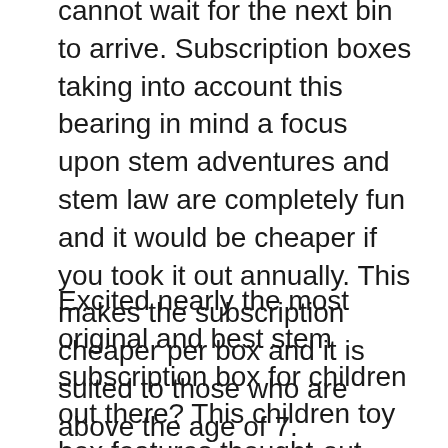cannot wait for the next bin to arrive. Subscription boxes taking into account this bearing in mind a focus upon stem adventures and stem law are completely fun and it would be cheaper if you took it out annually. This makes the subscription cheaper per box and it is suited to those who are above the age of 7.
Excited nearly the most original and best stem subscription box for children out there? This children toy box features thought-out options that are tested and original. It’s our best pick as best for overall use. Little Passports uses 3 boxes for various age groups. If you are after a bin which is most suited to older kids then this is moreover the best option. The Science Expeditions bin is ideal for children and are above the age of